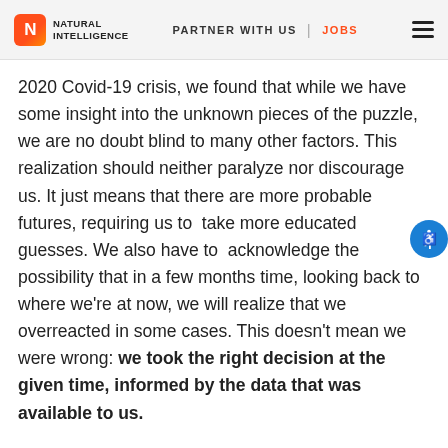Natural Intelligence — PARTNER WITH US | JOBS
2020 Covid-19 crisis, we found that while we have some insight into the unknown pieces of the puzzle, we are no doubt blind to many other factors. This realization should neither paralyze nor discourage us. It just means that there are more probable futures, requiring us to  take more educated guesses. We also have to  acknowledge the possibility that in a few months time, looking back to where we're at now, we will realize that we overreacted in some cases. This doesn't mean we were wrong: we took the right decision at the given time, informed by the data that was available to us.
2. Maintain agility